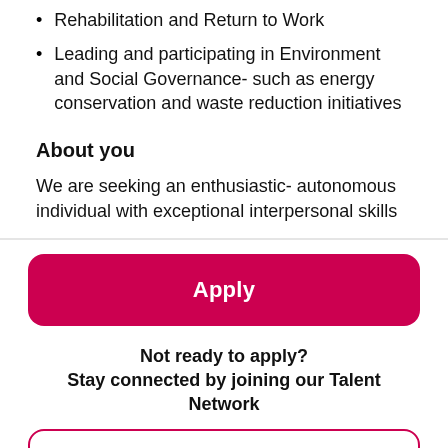Rehabilitation and Return to Work
Leading and participating in Environment and Social Governance- such as energy conservation and waste reduction initiatives
About you
We are seeking an enthusiastic- autonomous individual with exceptional interpersonal skills
Apply
Not ready to apply?
Stay connected by joining our Talent Network
Talent Network